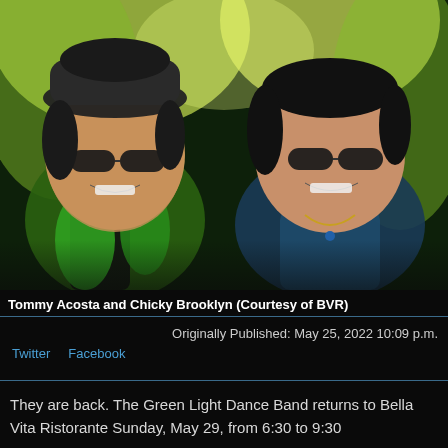[Figure (photo): Two smiling men wearing sunglasses against a bright green background. The man on the left wears a dark fedora hat and a green shirt with a dark vest. The man on the right has dark hair and wears a dark blue shirt with a necklace.]
Tommy Acosta and Chicky Brooklyn (Courtesy of BVR)
Originally Published: May 25, 2022 10:09 p.m.
Twitter   Facebook
They are back. The Green Light Dance Band returns to Bella Vita Ristorante Sunday, May 29, from 6:30 to 9:30